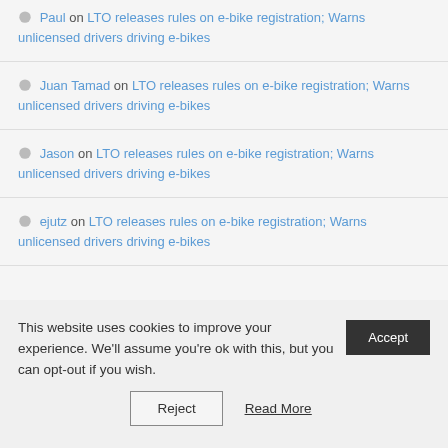Paul on LTO releases rules on e-bike registration; Warns unlicensed drivers driving e-bikes
Juan Tamad on LTO releases rules on e-bike registration; Warns unlicensed drivers driving e-bikes
Jason on LTO releases rules on e-bike registration; Warns unlicensed drivers driving e-bikes
ejutz on LTO releases rules on e-bike registration; Warns unlicensed drivers driving e-bikes
This website uses cookies to improve your experience. We'll assume you're ok with this, but you can opt-out if you wish. Accept Reject Read More